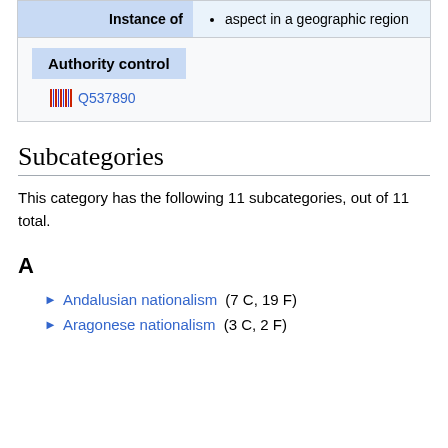| Instance of | value |
| --- | --- |
| Instance of | aspect in a geographic region |
Authority control
Q537890
Subcategories
This category has the following 11 subcategories, out of 11 total.
A
Andalusian nationalism (7 C, 19 F)
Aragonese nationalism (3 C, 2 F)